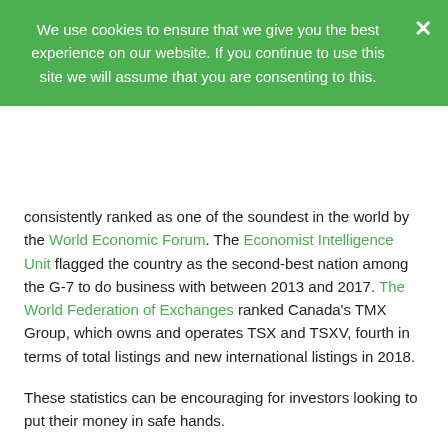We use cookies to ensure that we give you the best experience on our website. If you continue to use this site we will assume that you are consenting to this.
consistently ranked as one of the soundest in the world by the World Economic Forum. The Economist Intelligence Unit flagged the country as the second-best nation among the G-7 to do business with between 2013 and 2017. The World Federation of Exchanges ranked Canada's TMX Group, which owns and operates TSX and TSXV, fourth in terms of total listings and new international listings in 2018.
These statistics can be encouraging for investors looking to put their money in safe hands.
What Makes the Canadian Investment Landscape Unique?